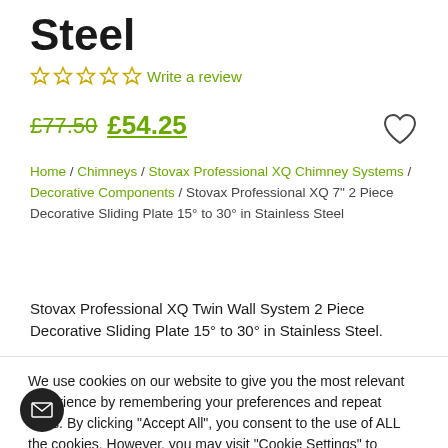Steel
☆ ☆ ☆ ☆ ☆ Write a review
£77.50 £54.25
Home / Chimneys / Stovax Professional XQ Chimney Systems / Decorative Components / Stovax Professional XQ 7" 2 Piece Decorative Sliding Plate 15° to 30° in Stainless Steel
Stovax Professional XQ Twin Wall System 2 Piece Decorative Sliding Plate 15° to 30° in Stainless Steel.
We use cookies on our website to give you the most relevant experience by remembering your preferences and repeat visits. By clicking "Accept All", you consent to the use of ALL the cookies. However, you may visit "Cookie Settings" to provide a controlled consent.